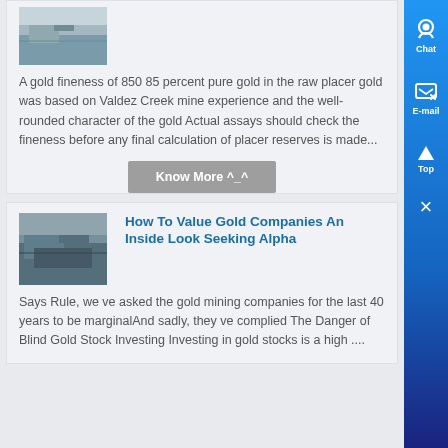[Figure (photo): Thumbnail image of a mining/landscape scene, appears partially cropped at top]
A gold fineness of 850 85 percent pure gold in the raw placer gold was based on Valdez Creek mine experience and the well-rounded character of the gold Actual assays should check the fineness before any final calculation of placer reserves is made...
Know More ^_^
[Figure (photo): Thumbnail image of a gold mining operation, appears to show open pit or industrial site]
How To Value Gold Companies An Inside Look Seeking Alpha
Says Rule, we ve asked the gold mining companies for the last 40 years to be marginalAnd sadly, they ve complied The Danger of Blind Gold Stock Investing Investing in gold stocks is a high ....